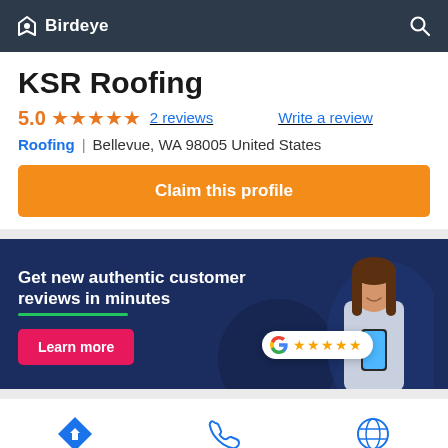Birdeye
KSR Roofing
5.0 ★★★★★  2 reviews   Write a review
Roofing | Bellevue, WA 98005 United States
Claim this profile
[Figure (infographic): Birdeye advertisement banner with dark navy background. Text: 'Get new authentic customer reviews in minutes' with green underline. Red 'Learn more' button. Woman holding phone on right side with Google 5-star rating badge.]
Direction
Call
Website